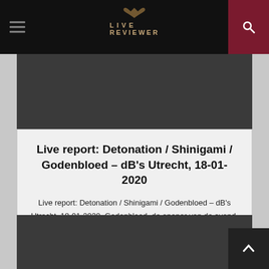LIVE REVIEWER
Live report: Detonation / Shinigami / Godenbloed – dB's Utrecht, 18-01-2020
Live report: Detonation / Shinigami / Godenbloed – dB's Utrecht, 18-01-2020. Godenbloed, de opener van de avond, combineert doom metal, sludge en black metal. Daarnaast